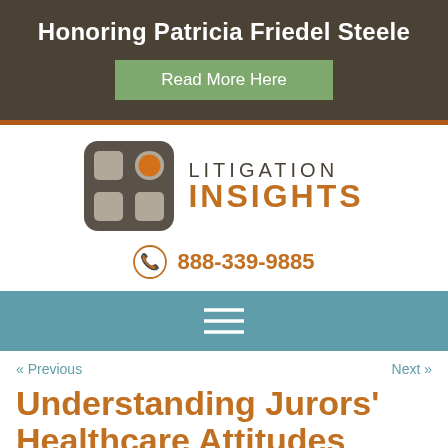Honoring Patricia Friedel Steele
Read More Here
[Figure (logo): Litigation Insights logo with grid icon and orange circle, company name LITIGATION INSIGHTS]
888-339-9885
[Figure (other): Teal navigation bar with hamburger menu icon]
« Previous    Next »
Understanding Jurors' Healthcare Attitudes When